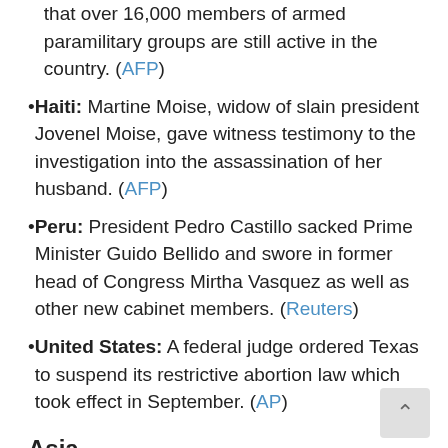that over 16,000 members of armed paramilitary groups are still active in the country. (AFP)
Haiti: Martine Moise, widow of slain president Jovenel Moise, gave witness testimony to the investigation into the assassination of her husband. (AFP)
Peru: President Pedro Castillo sacked Prime Minister Guido Bellido and swore in former head of Congress Mirtha Vasquez as well as other new cabinet members. (Reuters)
United States: A federal judge ordered Texas to suspend its restrictive abortion law which took effect in September. (AP)
Asia
Australia: Authorities announced COVID-19 restrictions would be eased in Sydney beginning next week as the city reached its 70% full vaccination target. (Reuters)
China: The country will launch a biodiversity